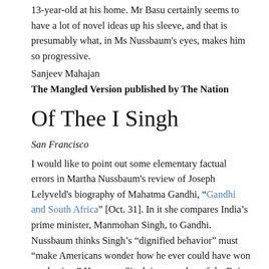13-year-old at his home. Mr Basu certainly seems to have a lot of novel ideas up his sleeve, and that is presumably what, in Ms Nussbaum's eyes, makes him so progressive.
Sanjeev Mahajan
The Mangled Version published by The Nation
Of Thee I Singh
San Francisco
I would like to point out some elementary factual errors in Martha Nussbaum's review of Joseph Lelyveld's biography of Mahatma Gandhi, “Gandhi and South Africa” [Oct. 31]. In it she compares India’s prime minister, Manmohan Singh, to Gandhi. Nussbaum thinks Singh’s “dignified behavior” must “make Americans wonder how he ever could have won an election.” However, Singh is a member of the Rajya Sabha (the upper house of Parliament, similar to the British House of Lords), where people are nominated, not elected. In fact, the only time he